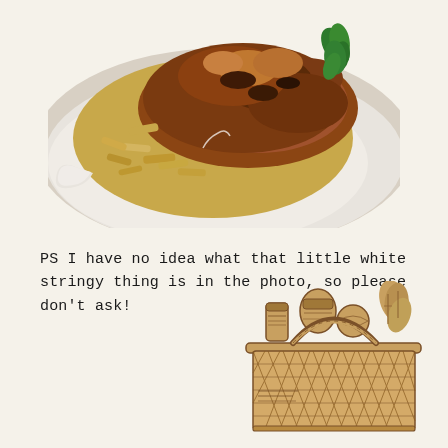[Figure (photo): A white oval dish filled with baked ziti or penne pasta with a crispy golden-brown cheese and breadcrumb topping, garnished with a sprig of fresh green herbs on the right side.]
PS I have no idea what that little white stringy thing is in the photo, so please don't ask!
[Figure (illustration): A vintage-style line drawing illustration of a wicker picnic basket filled with groceries including canned goods, bottles, and leafy vegetables.]